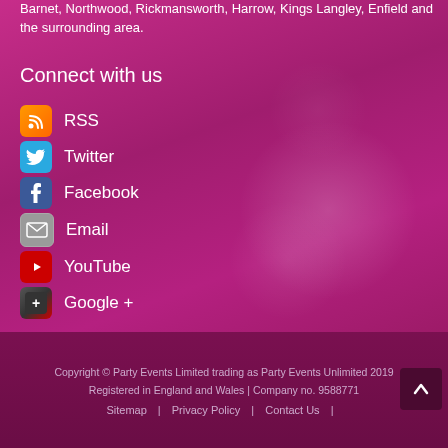Barnet, Northwood, Rickmansworth, Harrow, Kings Langley, Enfield and the surrounding area.
Connect with us
RSS
Twitter
Facebook
Email
YouTube
Google +
Copyright © Party Events Limited trading as Party Events Unlimited 2019
Registered in England and Wales | Company no. 9588771
Sitemap | Privacy Policy | Contact Us